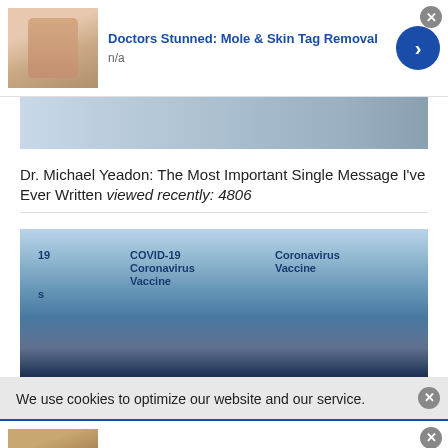[Figure (photo): Ad thumbnail: person applying something to face (mole/skin tag removal)]
Doctors Stunned: Mole & Skin Tag Removal
n/a
[Figure (photo): Partial crop of a face/medical image at top]
Dr. Michael Yeadon: The Most Important Single Message I’ve Ever Written viewed recently: 4806
[Figure (photo): Photo of multiple COVID-19 Coronavirus Vaccine vials]
We use cookies to optimize our website and our service.
[Figure (photo): Ad thumbnail: older man portrait]
3 Steps to Tell a Slot Might Be Close to
n/a